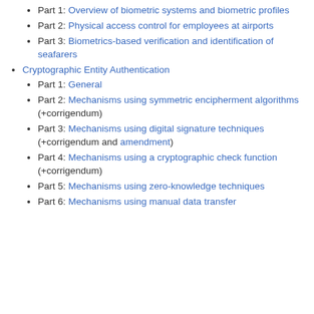Part 1: Overview of biometric systems and biometric profiles
Part 2: Physical access control for employees at airports
Part 3: Biometrics-based verification and identification of seafarers
Cryptographic Entity Authentication
Part 1: General
Part 2: Mechanisms using symmetric encipherment algorithms (+corrigendum)
Part 3: Mechanisms using digital signature techniques (+corrigendum and amendment)
Part 4: Mechanisms using a cryptographic check function (+corrigendum)
Part 5: Mechanisms using zero-knowledge techniques
Part 6: Mechanisms using manual data transfer